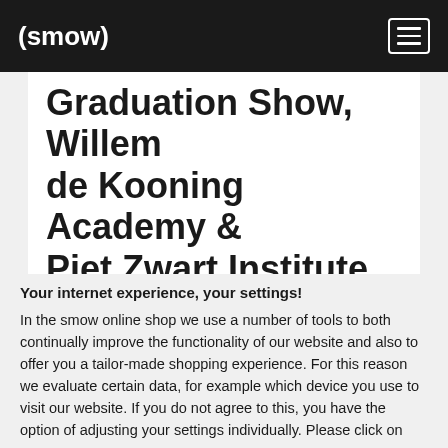(smow)
Graduation Show, Willem de Kooning Academy & Piet Zwart Institute, Rotterdam, Netherlands
Your internet experience, your settings!
In the smow online shop we use a number of tools to both continually improve the functionality of our website and also to offer you a tailor-made shopping experience. For this reason we evaluate certain data, for example which device you use to visit our website. If you do not agree to this, you have the option of adjusting your settings individually. Please click on
CUSTOMISE
AGREE TO ALL OPTIONAL TOOLS